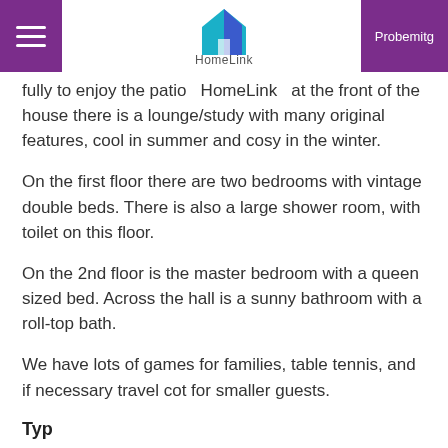HomeLink — Probemitg
fully to enjoy the patio HomeLink at the front of the house there is a lounge/study with many original features, cool in summer and cosy in the winter.
On the first floor there are two bedrooms with vintage double beds. There is also a large shower room, with toilet on this floor.
On the 2nd floor is the master bedroom with a queen sized bed. Across the hall is a sunny bathroom with a roll-top bath.
We have lots of games for families, table tennis, and if necessary travel cot for smaller guests.
Typ
Haus mit EG und OG (oder mehr Stockwerken)/ Haus...